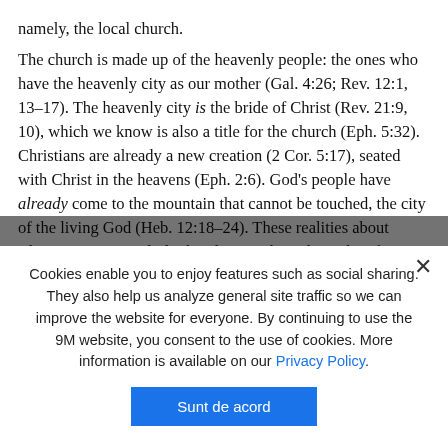namely, the local church.
The church is made up of the heavenly people: the ones who have the heavenly city as our mother (Gal. 4:26; Rev. 12:1, 13–17). The heavenly city is the bride of Christ (Rev. 21:9, 10), which we know is also a title for the church (Eph. 5:32). Christians are already a new creation (2 Cor. 5:17), seated with Christ in the heavens (Eph. 2:6). God's people have already come to the mountain that cannot be touched, the city of the living God (Heb. 12:18–24). These realities about Christians—particularly that they can be independent from a local assembly—are not merely theoretical truths, but th...
Christians united in local churches represent heaven. We speak for heaven by our judgments...
Cookies enable you to enjoy features such as social sharing. They also help us analyze general site traffic so we can improve the website for everyone. By continuing to use the 9M website, you consent to the use of cookies. More information is available on our Privacy Policy.
Sunt de acord